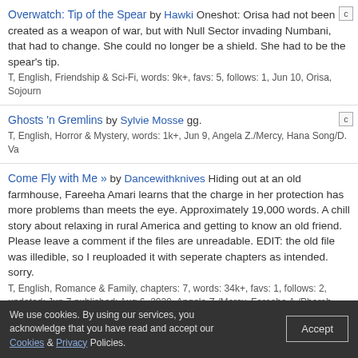Overwatch: Tip of the Spear by Hawki Oneshot: Orisa had not been created as a weapon of war, but with Null Sector invading Numbani, that had to change. She could no longer be a shield. She had to be the spear's tip. T, English, Friendship & Sci-Fi, words: 9k+, favs: 5, follows: 1, Jun 10, Orisa, Sojourn
Ghosts 'n Gremlins by Sylvie Mosse gg. T, English, Horror & Mystery, words: 1k+, Jun 9, Angela Z./Mercy, Hana Song/D. Va
Come Fly with Me » by Dancewithknives Hiding out at an old farmhouse, Fareeha Amari learns that the charge in her protection has more problems than meets the eye. Approximately 19,000 words. A chill story about relaxing in rural America and getting to know an old friend. Please leave a comment if the files are unreadable. EDIT: the old file was illedible, so I reuploaded it with seperate chapters as intended. sorry. T, English, Romance & Family, chapters: 7, words: 34k+, favs: 1, follows: 2, updated: Jun 7 published: Aug 6, 2020, Angela Z./Mercy, Fareeha A./Pharah, Lena O./Tracer, J. Morrison/Soldier: 76
Road Trip Massacre (Roadrat AU) by Greedy Bitch Jamison Fawkes decided to head out to the Australian Outback to party with a couple of strangers he found on the internet. They stopped by an odd town while heading up there, but soon discovered that they were the next victims of a blood-thirsty slasher.
We use cookies. By using our services, you acknowledge that you have read and accept our Cookies & Privacy Policies. Accept